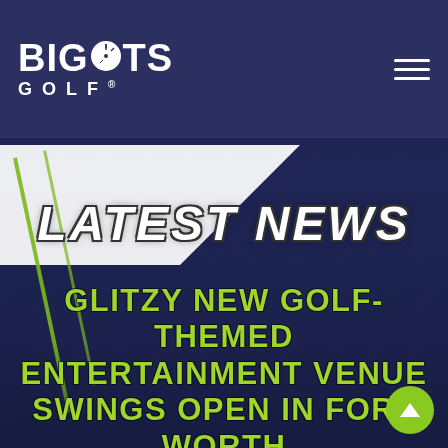[Figure (screenshot): BigShots Golf website screenshot showing navigation bar with logo, a background photo of a golf entertainment facility with people, overlaid with a Latest News section header and an article headline.]
BIGSHOTS GOLF
LATEST NEWS
GLITZY NEW GOLF-THEMED ENTERTAINMENT VENUE SWINGS OPEN IN FORT WORTH